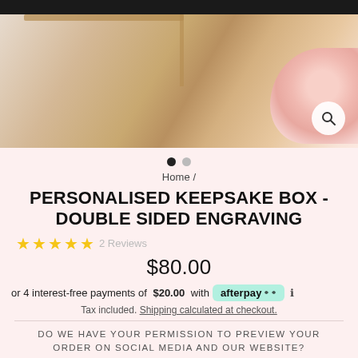[Figure (photo): Product photo of a personalised keepsake wooden box on a marble surface with pink roses in background, top-down view showing wood grain detail and a framed photo inside the box]
Home /
PERSONALISED KEEPSAKE BOX - DOUBLE SIDED ENGRAVING
★★★★★ 2 Reviews
$80.00
or 4 interest-free payments of $20.00 with afterpay ℹ
Tax included. Shipping calculated at checkout.
DO WE HAVE YOUR PERMISSION TO PREVIEW YOUR ORDER ON SOCIAL MEDIA AND OUR WEBSITE?